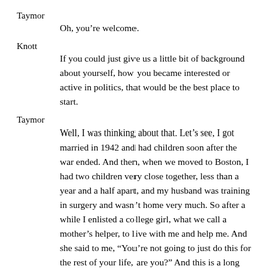Taymor
Oh, you're welcome.
Knott
If you could just give us a little bit of background about yourself, how you became interested or active in politics, that would be the best place to start.
Taymor
Well, I was thinking about that. Let’s see, I got married in 1942 and had children soon after the war ended. And then, when we moved to Boston, I had two children very close together, less than a year and a half apart, and my husband was training in surgery and wasn’t home very much. So after a while I enlisted a college girl, what we call a mother’s helper, to live with me and help me. And she said to me, “You’re not going to just do this for the rest of your life, are you?” And this is a long time ago. I looked at her in astonishment, because in those days—this was call